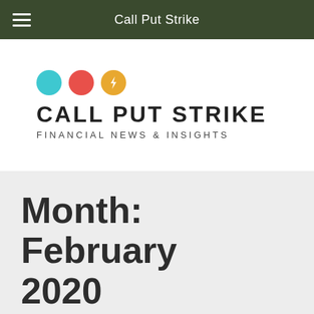Call Put Strike
[Figure (logo): Call Put Strike logo with cyan circle, red circle, and orange circle with lightning bolt icon, followed by text CALL PUT STRIKE and FINANCIAL NEWS & INSIGHTS]
Month: February 2020